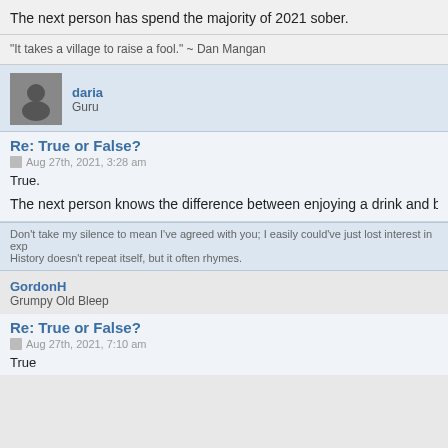The next person has spend the majority of 2021 sober.
"It takes a village to raise a fool." ~ Dan Mangan
daria
Guru
Re: True or False?
Aug 27th, 2021, 3:28 am
True.
The next person knows the difference between enjoying a drink and being co
Don't take my silence to mean I've agreed with you; I easily could've just lost interest in exp
History doesn't repeat itself, but it often rhymes.
GordonH
Grumpy Old Bleep
Re: True or False?
Aug 27th, 2021, 7:10 am
True